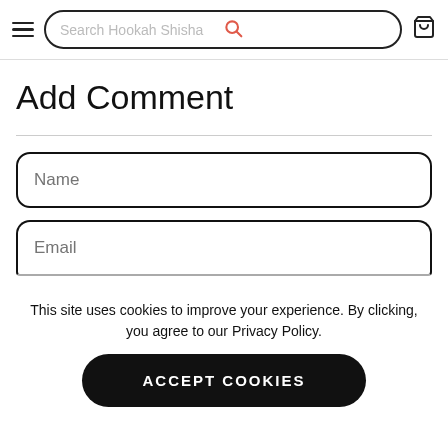Search Hookah Shisha
Add Comment
Name
Email
This site uses cookies to improve your experience. By clicking, you agree to our Privacy Policy.
ACCEPT COOKIES